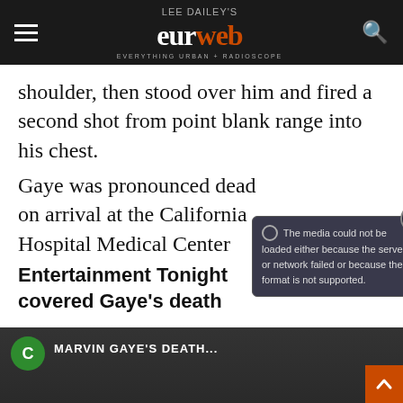Lee Dailey's eurweb - Everything Urban + Radioscope
shoulder, then stood over him and fired a second shot from point blank range into his chest.
Gaye was pronounced dead on arrival at the California Hospital Medical Center
Entertainment Tonight covered Gaye’s death
[Figure (screenshot): YouTube video thumbnail showing Marvin Gaye's death story, with a media error overlay saying 'The media could not be loaded either because the server or network failed or because the format is not supported.']